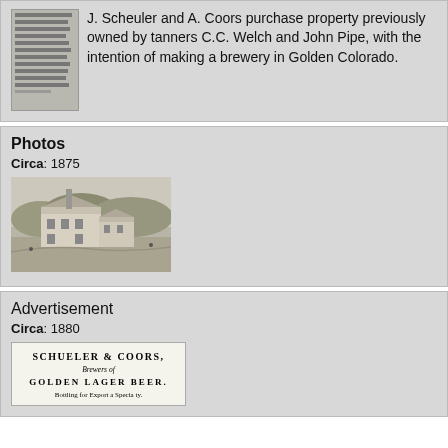J. Scheuler and A. Coors purchase property previously owned by tanners C.C. Welch and John Pipe, with the intention of making a brewery in Golden Colorado.
Photos
Circa: 1875
[Figure (photo): Circa 1875 illustration/engraving of the early Coors brewery building in Golden, Colorado, showing a large stone structure amid hills and landscape.]
Advertisement
Circa: 1880
[Figure (photo): Circa 1880 advertisement for Schueler & Coors, Brewers of Golden Lager Beer. Bottling for Export a Specialty.]